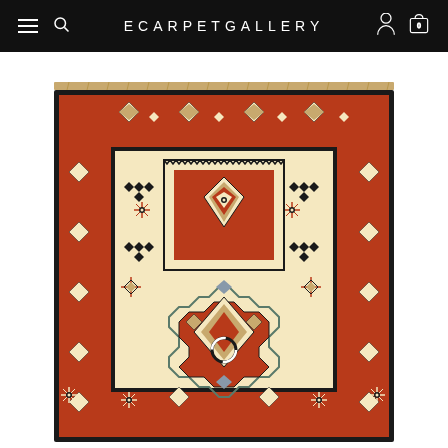ECARPETGALLERY
[Figure (photo): Kazak style hand-knotted wool area rug with geometric patterns, medallions, and intricate border designs in red, cream/ivory, navy, and gold/orange colors. The rug features a central medallion design with multiple decorative borders and a loading indicator visible near the bottom center.]